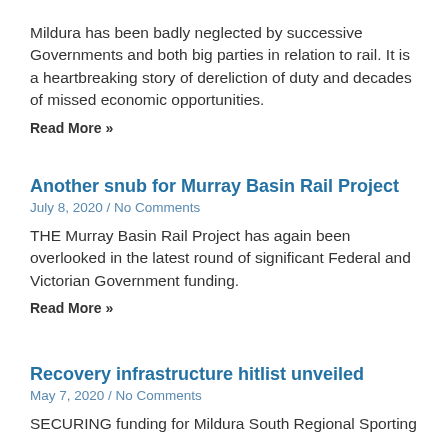Mildura has been badly neglected by successive Governments and both big parties in relation to rail. It is a heartbreaking story of dereliction of duty and decades of missed economic opportunities.
Read More »
Another snub for Murray Basin Rail Project
July 8, 2020 / No Comments
THE Murray Basin Rail Project has again been overlooked in the latest round of significant Federal and Victorian Government funding.
Read More »
Recovery infrastructure hitlist unveiled
May 7, 2020 / No Comments
SECURING funding for Mildura South Regional Sporting